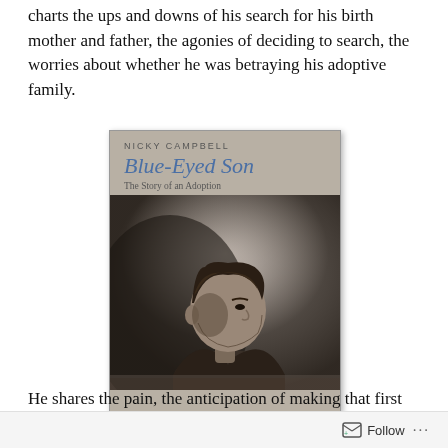charts the ups and downs of his search for his birth mother and father, the agonies of deciding to search, the worries about whether he was betraying his adoptive family.
[Figure (photo): Book cover of 'Blue-Eyed Son: The Story of an Adoption' by Nicky Campbell, showing a black-and-white photograph of a young boy in profile looking to the right, wearing a dark sweater.]
He shares the pain, the anticipation of making that first